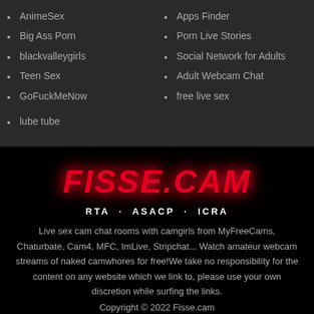AnimeSex
Big Ass Porn
blackvalleygirls
Teen Sex
GoFuckMeNow
Apps Finder
Porn Live Stories
Social Network for Adults
Adult Webcam Chat
free live sex
lube tube
[Figure (logo): FISSE.CAM logo in red bold italic text with glow effect]
RTA · ASACP · ICRA
Live sex cam chat rooms with camgirls from MyFreeCams, Chaturbate, Cam4, MFC, ImLive, Stripchat... Watch amateur webcam streams of naked camwhores for free!We take no responsibility for the content on any website which we link to, please use your own discretion while surfing the links.
Copyright © 2022 Fisse.cam